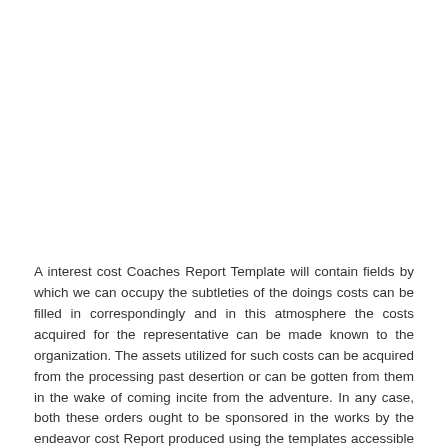A interest cost Coaches Report Template will contain fields by which we can occupy the subtleties of the doings costs can be filled in correspondingly and in this atmosphere the costs acquired for the representative can be made known to the organization. The assets utilized for such costs can be acquired from the processing past desertion or can be gotten from them in the wake of coming incite from the adventure. In any case, both these orders ought to be sponsored in the works by the endeavor cost Report produced using the templates accessible in the same way as them. Consequently, the utilization of a decent travel cost Report template won't just gain the giving out yet